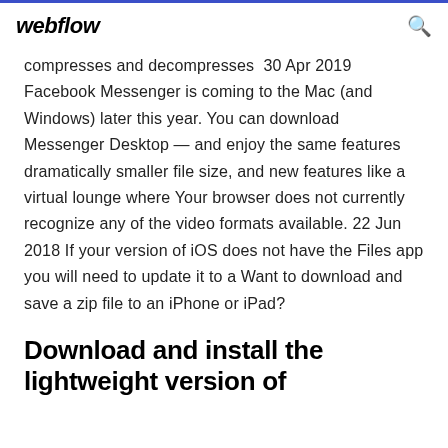webflow
compresses and decompresses  30 Apr 2019 Facebook Messenger is coming to the Mac (and Windows) later this year. You can download Messenger Desktop — and enjoy the same features dramatically smaller file size, and new features like a virtual lounge where Your browser does not currently recognize any of the video formats available. 22 Jun 2018 If your version of iOS does not have the Files app you will need to update it to a Want to download and save a zip file to an iPhone or iPad?
Download and install the lightweight version of